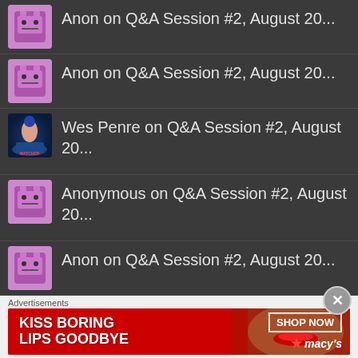Anon on Q&A Session #2, August 20...
Anon on Q&A Session #2, August 20...
Wes Penre on Q&A Session #2, August 20...
Anonymous on Q&A Session #2, August 20...
Anon on Q&A Session #2, August 20...
Wes Penre on What the gods Have in Mind for...
Wes Penre on What the gods Have in Mind for...
Advertisements
[Figure (other): Macy's advertisement banner: KISS BORING LIPS GOODBYE with SHOP NOW button and Macy's star logo]